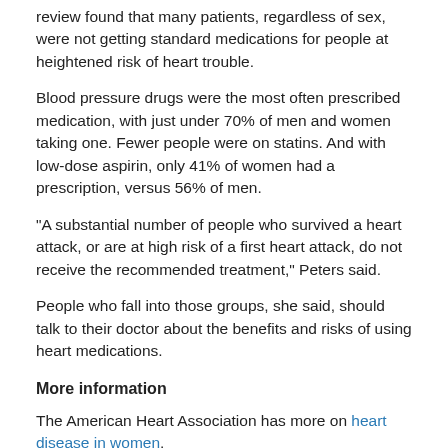review found that many patients, regardless of sex, were not getting standard medications for people at heightened risk of heart trouble.
Blood pressure drugs were the most often prescribed medication, with just under 70% of men and women taking one. Fewer people were on statins. And with low-dose aspirin, only 41% of women had a prescription, versus 56% of men.
"A substantial number of people who survived a heart attack, or are at high risk of a first heart attack, do not receive the recommended treatment," Peters said.
People who fall into those groups, she said, should talk to their doctor about the benefits and risks of using heart medications.
More information
The American Heart Association has more on heart disease in women.
SOURCES: Sanne Peters, Ph.D., research fellow, George Institute for Global Health, University of Oxford, U.K.; Gina Lundberg, M.D., clinical director, Emory Women's Heart Center, and associate professor, medicine, Emory University School of Medicine, Atlanta; May 20, 2020, Journal of the American Heart Association, online